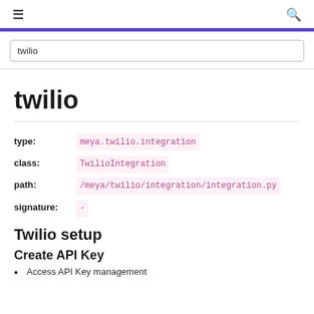≡  (search icon)
twilio
twilio
type:  meya.twilio.integration
class:  TwilioIntegration
path:  /meya/twilio/integration/integration.py
signature:  -
Twilio setup
Create API Key
Access API Key management